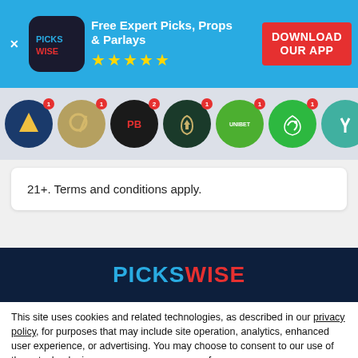[Figure (screenshot): App download banner with Pickswise logo, 5 gold stars, 'Free Expert Picks, Props & Parlays' text, and red DOWNLOAD OUR APP button on blue background]
[Figure (infographic): Row of sportsbook circular icons with red notification badges: DraftKings, FanDuel, PointsBet, BetMGM, Unibet, DraftKings alt, Yahoo, and another book]
21+. Terms and conditions apply.
[Figure (logo): PICKSWISE logo in blue and red on dark navy background]
This site uses cookies and related technologies, as described in our privacy policy, for purposes that may include site operation, analytics, enhanced user experience, or advertising. You may choose to consent to our use of these technologies, or manage your own preferences.
Manage Settings
Accept
Decline All